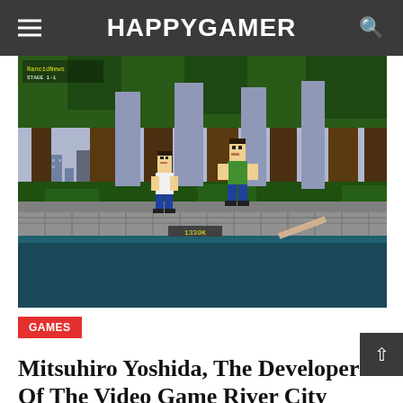HAPPYGAMER
[Figure (screenshot): 8-bit pixel art screenshot from the NES video game River City Ransom, showing two characters fighting in a park with large trees, a city skyline in the background, and a river at the bottom.]
GAMES
Mitsuhiro Yoshida, The Developer Of The Video Game River City Ransom Has Died
Sep 4, 2022  Michael Gunn  30  0